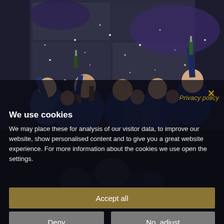[Figure (photo): Group of people in blue jackets celebrating with champagne bottles raised, confetti falling, indoor venue with blue lighting, joyful celebration scene]
x
Privacy policy
We use cookies
We may place these for analysis of our visitor data, to improve our website, show personalised content and to give you a great website experience. For more information about the cookies we use open the settings.
Accept all
Deny
No, adjust